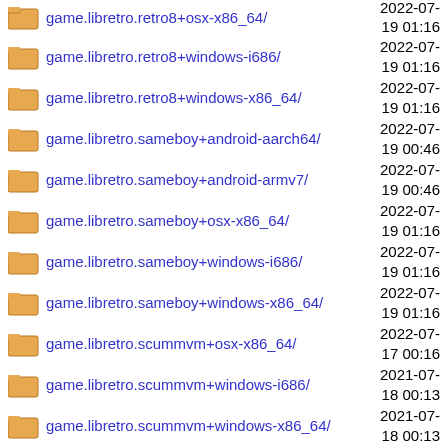game.libretro.retro8+osx-x86_64/  2022-07-19 01:16
game.libretro.retro8+windows-i686/  2022-07-19 01:16
game.libretro.retro8+windows-x86_64/  2022-07-19 01:16
game.libretro.sameboy+android-aarch64/  2022-07-19 00:46
game.libretro.sameboy+android-armv7/  2022-07-19 00:46
game.libretro.sameboy+osx-x86_64/  2022-07-19 01:16
game.libretro.sameboy+windows-i686/  2022-07-19 01:16
game.libretro.sameboy+windows-x86_64/  2022-07-19 01:16
game.libretro.scummvm+osx-x86_64/  2022-07-17 00:16
game.libretro.scummvm+windows-i686/  2021-07-18 00:13
game.libretro.scummvm+windows-x86_64/  2021-07-18 00:13
game.libretro.smsplus-gx+android-aarch64/  2022-07-